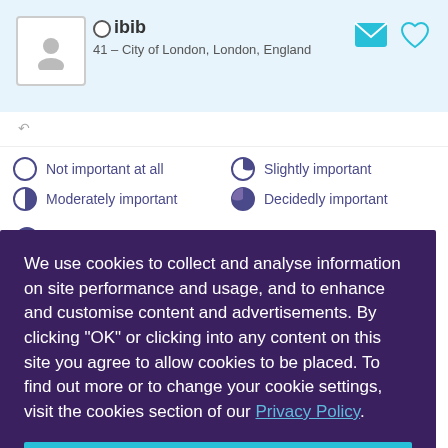ibib — 41 – City of London, London, England
Not important at all
Slightly important
Moderately important
Decidedly important
Non-negotiable
We use cookies to collect and analyse information on site performance and usage, and to enhance and customise content and advertisements. By clicking "OK" or clicking into any content on this site you agree to allow cookies to be placed. To find out more or to change your cookie settings, visit the cookies section of our Privacy Policy.
OK